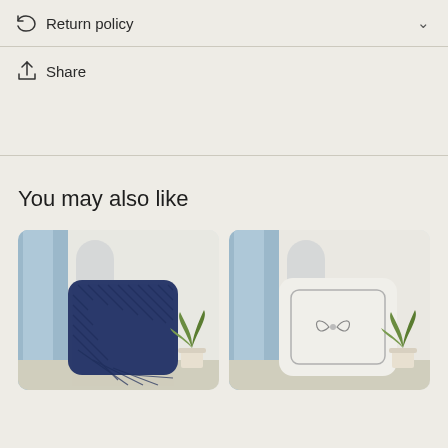Return policy
Share
You may also like
[Figure (photo): Navy blue knitted/textured throw pillow leaning against a wall with light blue drape and small potted plant in background]
[Figure (photo): White decorative pillow with stitched border detail, light blue drape and small potted plant in background]